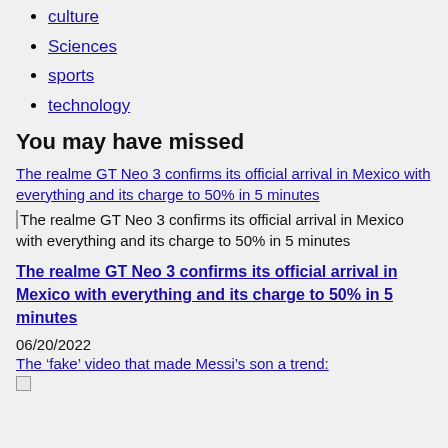culture
Sciences
sports
technology
You may have missed
The realme GT Neo 3 confirms its official arrival in Mexico with everything and its charge to 50% in 5 minutes
[Figure (photo): Broken image placeholder for article about realme GT Neo 3]
The realme GT Neo 3 confirms its official arrival in Mexico with everything and its charge to 50% in 5 minutes
The realme GT Neo 3 confirms its official arrival in Mexico with everything and its charge to 50% in 5 minutes
06/20/2022
The ‘fake’ video that made Messi’s son a trend: